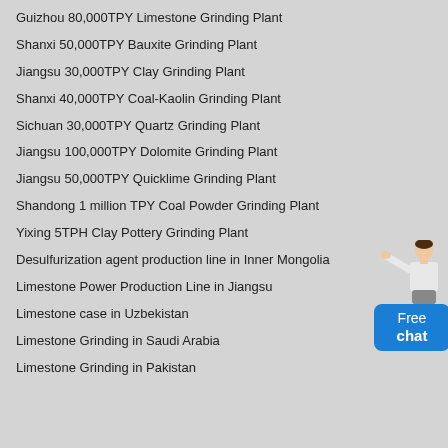Guizhou 80,000TPY Limestone Grinding Plant
Shanxi 50,000TPY Bauxite Grinding Plant
Jiangsu 30,000TPY Clay Grinding Plant
Shanxi 40,000TPY Coal-Kaolin Grinding Plant
Sichuan 30,000TPY Quartz Grinding Plant
Jiangsu 100,000TPY Dolomite Grinding Plant
Jiangsu 50,000TPY Quicklime Grinding Plant
Shandong 1 million TPY Coal Powder Grinding Plant
Yixing 5TPH Clay Pottery Grinding Plant
Desulfurization agent production line in Inner Mongolia
Limestone Power Production Line in Jiangsu
Limestone case in Uzbekistan
Limestone Grinding in Saudi Arabia
Limestone Grinding in Pakistan
[Figure (illustration): Chat widget with a person figure pointing and a blue Free chat button]